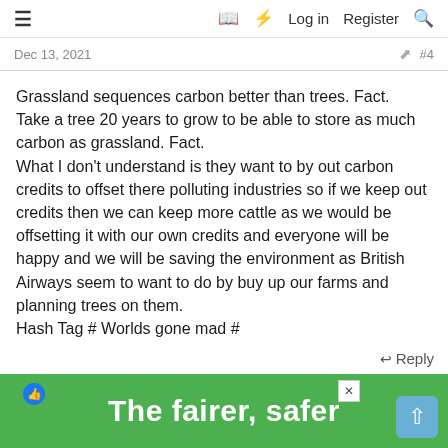≡   □ ⚡ Log in   Register 🔍
Dec 13, 2021
#4
Grassland sequences carbon better than trees. Fact.
Take a tree 20 years to grow to be able to store as much carbon as grassland. Fact.
What I don't understand is they want to by out carbon credits to offset there polluting industries so if we keep out credits then we can keep more cattle as we would be offsetting it with our own credits and everyone will be happy and we will be saving the environment as British Airways seem to want to do by buy up our farms and planning trees on them.
Hash Tag # Worlds gone mad #
↩ Reply
Ffermer Bach, YorkshireTom25, penntor and 10 others
[Figure (screenshot): Green advertisement banner at bottom reading 'The fairer, safer' with close button and scroll-to-top button]